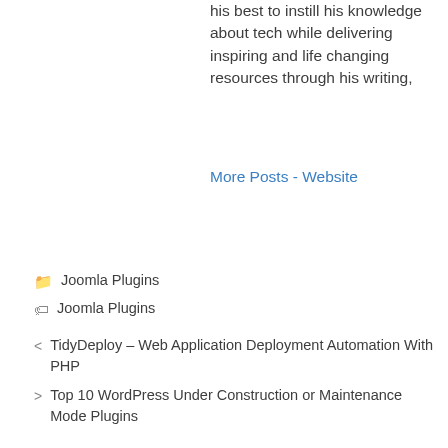his best to instill his knowledge about tech while delivering inspiring and life changing resources through his writing,
More Posts - Website
Joomla Plugins
Joomla Plugins
< TidyDeploy – Web Application Deployment Automation With PHP
> Top 10 WordPress Under Construction or Maintenance Mode Plugins